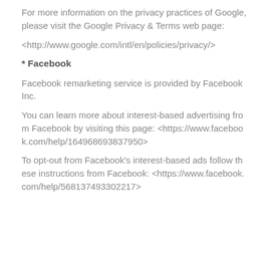For more information on the privacy practices of Google, please visit the Google Privacy &amp; Terms web page:
<http://www.google.com/intl/en/policies/privacy/>
* Facebook
Facebook remarketing service is provided by Facebook Inc.
You can learn more about interest-based advertising from Facebook by visiting this page: <https://www.facebook.com/help/164968693837950>
To opt-out from Facebook's interest-based ads follow these instructions from Facebook: <https://www.facebook.com/help/568137493302217>